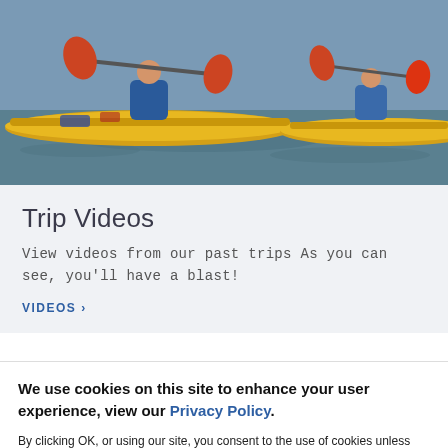[Figure (photo): Kayakers paddling yellow sea kayaks on water]
Trip Videos
View videos from our past trips As you can see, you'll have a blast!
VIDEOS >
We use cookies on this site to enhance your user experience, view our Privacy Policy.
By clicking OK, or using our site, you consent to the use of cookies unless you have disabled them in your browser.
OK